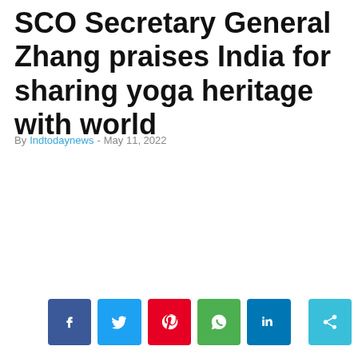SCO Secretary General Zhang praises India for sharing yoga heritage with world
By Indtodaynews - May 11, 2022
[Figure (other): Row of social media share buttons: Facebook (dark blue), Twitter (light blue), Pinterest (red), WhatsApp (green), LinkedIn (blue), and a share button (light blue)]